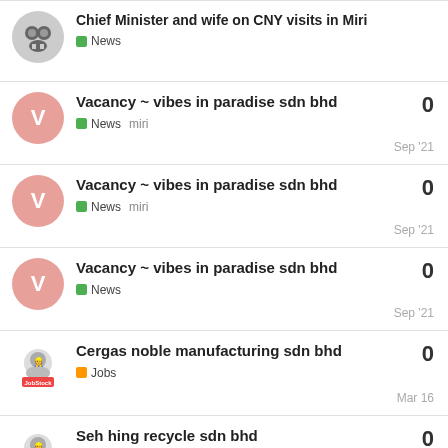Chief Minister and wife on CNY visits in Miri — News — 0
Vacancy ~ vibes in paradise sdn bhd — News miri — 0 — Sep '21
Vacancy ~ vibes in paradise sdn bhd — News miri — 0 — Sep '21
Vacancy ~ vibes in paradise sdn bhd — News — 0 — Sep '21
Cergas noble manufacturing sdn bhd — Jobs — 0 — Mar 16
Seh hing recycle sdn bhd — Jobs — 0 — Mar 31
HSE EXECUTIVE | Oceancare Corporation Sdn Bhd | Based: Malaysia(Sarawak) — 0